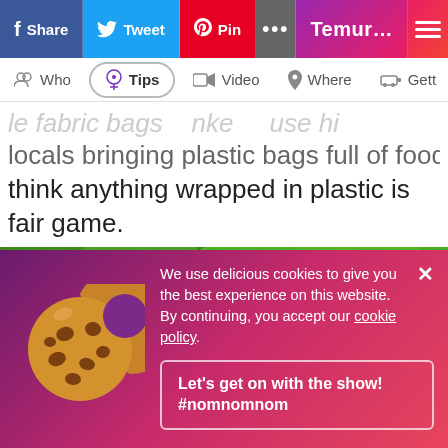Share | Tweet | Pin | ... | Temur... | menu
Who | Tips | Video | Where | Gett
...le fabric bags ...ke ...use hi locals bringing plastic bags full of food and think anything wrapped in plastic is fair game.
[Figure (photo): Outdoor photo of small building/cabin with brown tiled roof surrounded by lush green trees]
We use delicious cookies to give you the best experience on this website. By continuing, you accept our cookie policy. Let's get on with the show! #nomnomnom